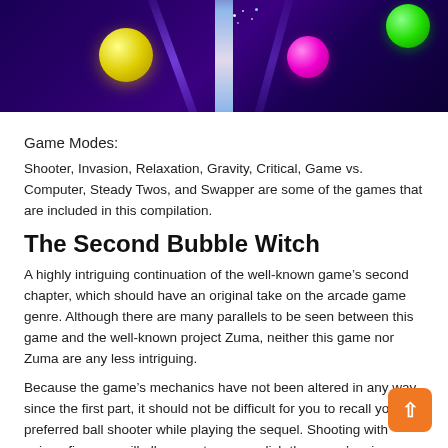[Figure (screenshot): Game screenshot showing colorful balls (yellow, pink, green) on a dark purple background with a bright blue-white beam of light in the center.]
Game Modes:
Shooter, Invasion, Relaxation, Gravity, Critical, Game vs. Computer, Steady Twos, and Swapper are some of the games that are included in this compilation.
The Second Bubble Witch
A highly intriguing continuation of the well-known game's second chapter, which should have an original take on the arcade game genre. Although there are many parallels to be seen between this game and the well-known project Zuma, neither this game nor Zuma are any less intriguing.
Because the game's mechanics have not been altered in any way since the first part, it should not be difficult for you to recall your preferred ball shooter while playing the sequel. Shooting with unique firearms will allow you to accomplish the game's primary objective, which is to eliminate balls of the same color as yourself.